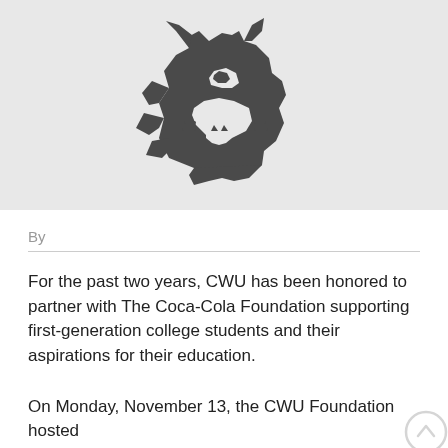[Figure (logo): CWU Wildcat mascot logo - a stylized wildcat/cougar head in dark gray on a light gray background]
By
For the past two years, CWU has been honored to partner with The Coca-Cola Foundation supporting first-generation college students and their aspirations for their education.
On Monday, November 13, the CWU Foundation hosted